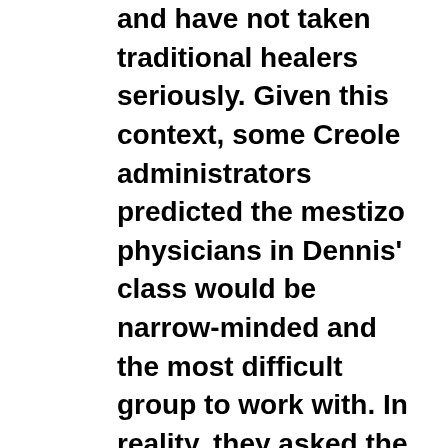and have not taken traditional healers seriously. Given this context, some Creole administrators predicted the mestizo physicians in Dennis' class would be narrow-minded and the most difficult group to work with. In reality, they asked the most perceptive questions and showed the most interest in the intercultural perspective presented. When Dennis invited